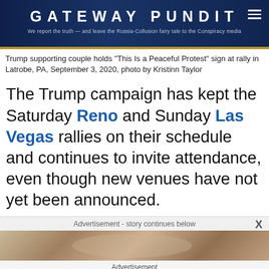GATEWAY PUNDIT — We report the truth — and leave the Russia-Collusion fairy tale to the Conspiracy media
Trump supporting couple holds "This Is a Peaceful Protest" sign at rally in Latrobe, PA, September 3, 2020, photo by Kristinn Taylor
The Trump campaign has kept the Saturday Reno and Sunday Las Vegas rallies on their schedule and continues to invite attendance, even though new venues have not yet been announced.
Advertisement - story continues below
[Figure (photo): Advertisement image strip showing close-up face]
Advertisement
[Figure (photo): Advertisement card: aerial photo of Thai architectural site with text '7 Thailand's Most Exquisite Architectural Wonders' from Brainberries]